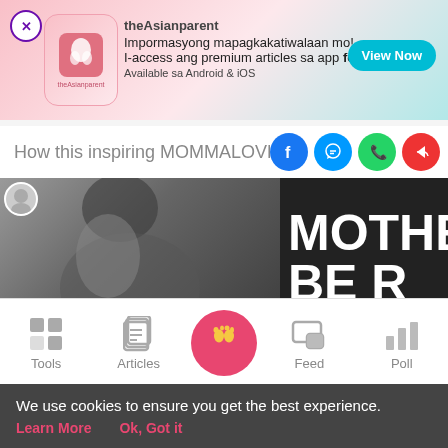[Figure (screenshot): theAsianparent app advertisement banner with pink gradient background, logo, text in Filipino, and View Now button]
How this inspiring MOMMALOVE® ac
[Figure (screenshot): Video thumbnail showing a woman's profile with text overlay reading MOTHERH BE R partially visible]
[Figure (screenshot): Mobile app bottom navigation bar with Tools, Articles, home (pink circle with baby feet), Feed, and Poll icons]
We use cookies to ensure you get the best experience.
Learn More   Ok, Got it